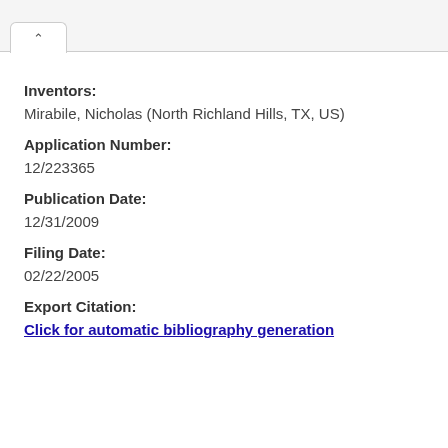Inventors:
Mirabile, Nicholas (North Richland Hills, TX, US)
Application Number:
12/223365
Publication Date:
12/31/2009
Filing Date:
02/22/2005
Export Citation:
Click for automatic bibliography generation